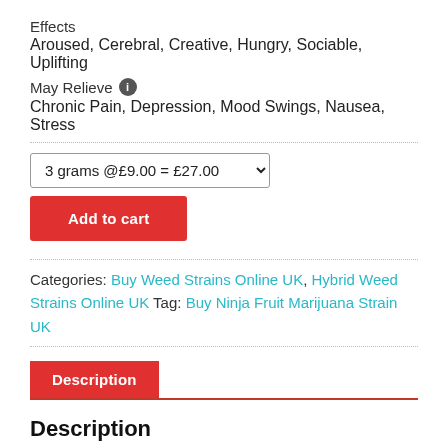Effects
Aroused, Cerebral, Creative, Hungry, Sociable, Uplifting
May Relieve ℹ
Chronic Pain, Depression, Mood Swings, Nausea, Stress
3 grams @£9.00 = £27.00
Add to cart
Categories: Buy Weed Strains Online UK, Hybrid Weed Strains Online UK Tag: Buy Ninja Fruit Marijuana Strain UK
Description
Description
Buy Ninja Fruit Marijuana Strain UK